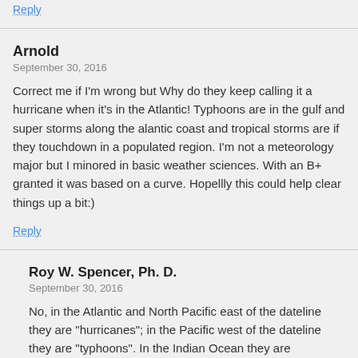Reply
Arnold
September 30, 2016
Correct me if I'm wrong but Why do they keep calling it a hurricane when it's in the Atlantic! Typhoons are in the gulf and super storms along the alantic coast and tropical storms are if they touchdown in a populated region. I'm not a meteorology major but I minored in basic weather sciences. With an B+ granted it was based on a curve. Hopellly this could help clear things up a bit:)
Reply
Roy W. Spencer, Ph. D.
September 30, 2016
No, in the Atlantic and North Pacific east of the dateline they are “hurricanes”; in the Pacific west of the dateline they are “typhoons”. In the Indian Ocean they are “cyclones”.